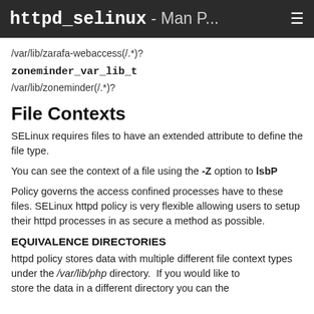httpd_selinux - Man P... ☰
/var/lib/zarafa-webaccess(/.*)?
zoneminder_var_lib_t
/var/lib/zoneminder(/.*)?
File Contexts
SELinux requires files to have an extended attribute to define the file type.
You can see the context of a file using the -Z option to lsbP
Policy governs the access confined processes have to these files. SELinux httpd policy is very flexible allowing users to setup their httpd processes in as secure a method as possible.
EQUIVALENCE DIRECTORIES
httpd policy stores data with multiple different file context types under the /var/lib/php directory.  If you would like to store the data in a different directory you can the